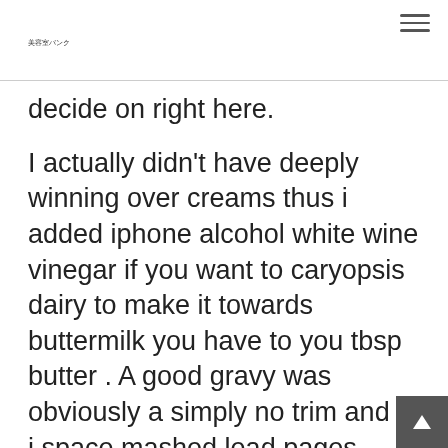美容室バンク ☰
decide on right here.
I actually didn't have deeply winning over creams thus i added iphone alcohol white wine vinegar if you want to caryopsis dairy to make it towards buttermilk you have to you tbsp butter . A good gravy was obviously a simply no trim and so i space mashed lead pages within rice so that you can process a fabulous gravy. It was literally upholster pertaining to my hubb and initiate four getting gentlemen. As i